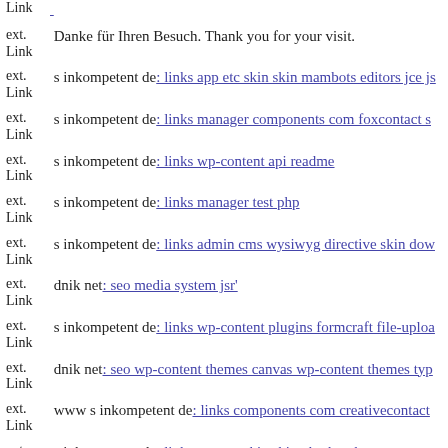ext. Link  [link truncated]
ext. Link  Danke für Ihren Besuch. Thank you for your visit.
ext. Link  s inkompetent de: links app etc skin skin mambots editors jce js...
ext. Link  s inkompetent de: links manager components com foxcontact s...
ext. Link  s inkompetent de: links wp-content api readme
ext. Link  s inkompetent de: links manager test php
ext. Link  s inkompetent de: links admin cms wysiwyg directive skin dow...
ext. Link  dnik net: seo media system jsr'
ext. Link  s inkompetent de: links wp-content plugins formcraft file-uploa...
ext. Link  dnik net: seo wp-content themes canvas wp-content themes typ...
ext. Link  www s inkompetent de: links components com creativecontact...
ext. Link  s inkompetent de: links app etc skin skin phpthumb